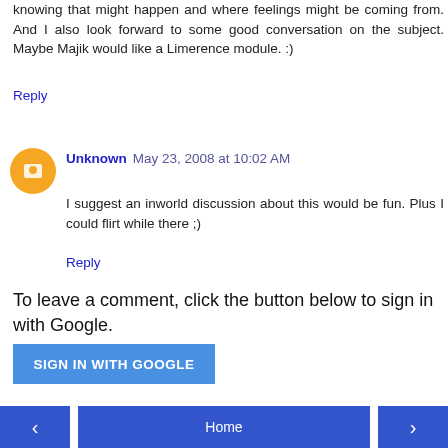knowing that might happen and where feelings might be coming from. And I also look forward to some good conversation on the subject. Maybe Majik would like a Limerence module. :)
Reply
Unknown May 23, 2008 at 10:02 AM
I suggest an inworld discussion about this would be fun. Plus I could flirt while there ;)
Reply
To leave a comment, click the button below to sign in with Google.
[Figure (other): Sign in with Google button — blue rectangular button with white uppercase text SIGN IN WITH GOOGLE]
[Figure (other): Navigation bar with previous arrow button on left, Home button in center, next arrow button on right — all blue]